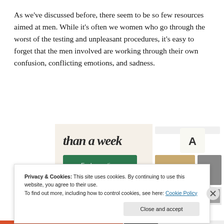As we've discussed before, there seem to be so few resources aimed at men. While it's often we women who go through the worst of the testing and unpleasant procedures, it's easy to forget that the men involved are working through their own confusion, conflicting emotions, and sadness.
[Figure (screenshot): Website advertisement screenshot showing 'than a week' text with an 'Explore options' green button and food/lifestyle images on the right side]
Privacy & Cookies: This site uses cookies. By continuing to use this website, you agree to their use.
To find out more, including how to control cookies, see here: Cookie Policy